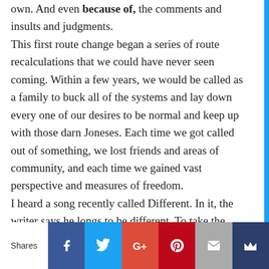own. And even because of, the comments and insults and judgments.
This first route change began a series of route recalculations that we could have never seen coming. Within a few years, we would be called as a family to buck all of the systems and lay down every one of our desires to be normal and keep up with those darn Joneses. Each time we got called out of something, we lost friends and areas of community, and each time we gained vast perspective and measures of freedom.
I heard a song recently called Different. In it, the writer says he longs to be different. To take the
Shares | Facebook | Twitter | G+ | Pinterest | Email | Crown